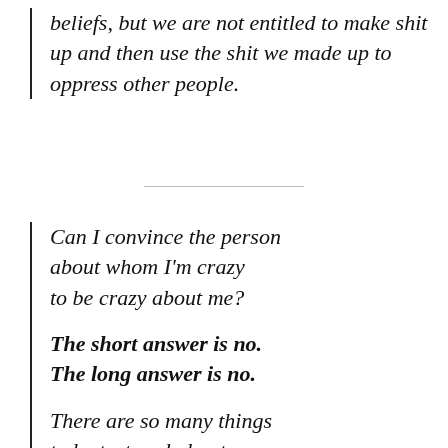beliefs, but we are not entitled to make shit up and then use the shit we made up to oppress other people.
Can I convince the person about whom I'm crazy to be crazy about me?

The short answer is no.
The long answer is no.

There are so many things to be tortured about. So many torturous things in this life.